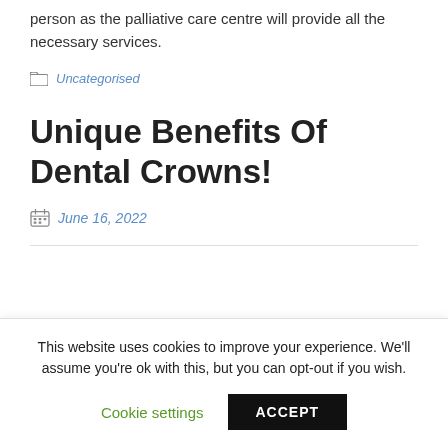person as the palliative care centre will provide all the necessary services.
Uncategorised
Unique Benefits Of Dental Crowns!
June 16, 2022
This website uses cookies to improve your experience. We'll assume you're ok with this, but you can opt-out if you wish.